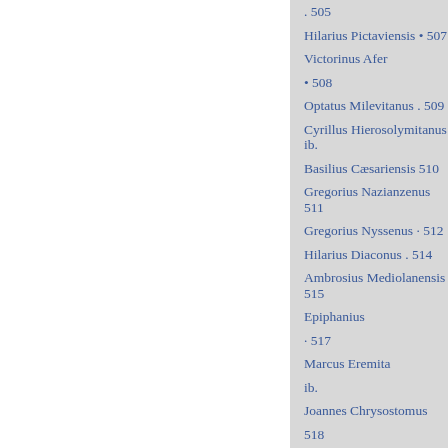. 505
Hilarius Pictaviensis • 507
Victorinus Afer
• 508
Optatus Milevitanus . 509
Cyrillus Hierosolymitanus ib.
Basilius Cæsariensis 510
Gregorius Nazianzenus 511
Gregorius Nyssenus · 512
Hilarius Diaconus . 514
Ambrosius Mediolanensis 515
Epiphanius
· 517
Marcus Eremita
ib.
Joannes Chrysostomus
518
Hieronymus